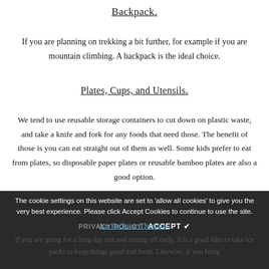Backpack.
If you are planning on trekking a bit further, for example if you are mountain climbing. A backpack is the ideal choice.
Plates, Cups, and Utensils.
We tend to use reusable storage containers to cut down on plastic waste, and take a knife and fork for any foods that need those. The benefit of those is you can eat straight out of them as well. Some kids prefer to eat from plates, so disposable paper plates or reusable bamboo plates are also a good option.
The cookie settings on this website are set to 'allow all cookies' to give you the very best experience. Please click Accept Cookies to continue to use the site.
Ice Packs or Thermos.
If you are going for a long day out and setting off early, it is a good idea to take ice packs to keep things good and fresh. Likewise, if you bring